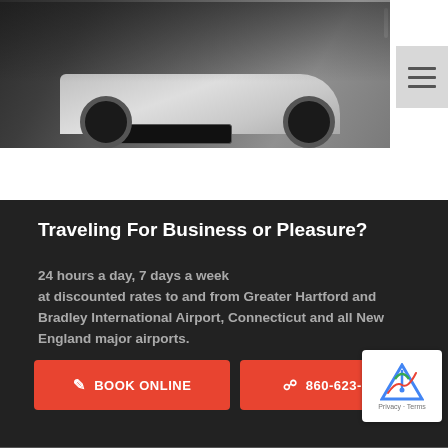[Figure (photo): Partial view of a silver/white Lincoln SUV from the front, photographed in a dark studio setting]
Traveling For Business or Pleasure?
24 hours a day, 7 days a week at discounted rates to and from Greater Hartford and Bradley International Airport, Connecticut and all New England major airports.
BOOK ONLINE
860-623-8888